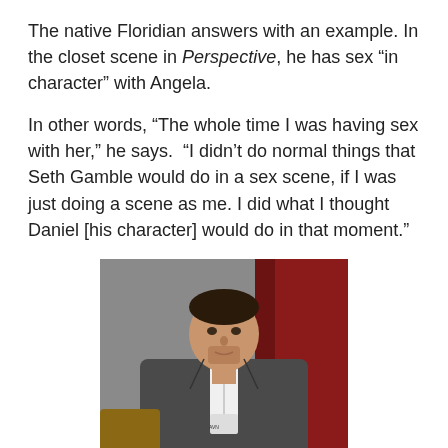The native Floridian answers with an example. In the closet scene in Perspective, he has sex “in character” with Angela.
In other words, “The whole time I was having sex with her,” he says. “I didn’t do normal things that Seth Gamble would do in a sex scene, if I was just doing a scene as me. I did what I thought Daniel [his character] would do in that moment.”
[Figure (photo): A man with short dark hair wearing a grey blazer over a white V-neck shirt, with a lanyard/badge, seated in front of a red curtain and grey wall background.]